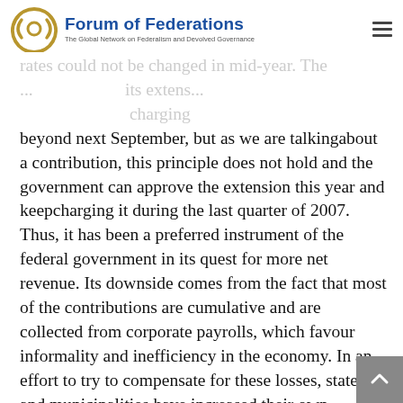Forum of Federations — The Global Network on Federalism and Devolved Governance
rates could not be changed in mid-year. The ... extends its ... charging beyond next September, but as we are talkingabout a contribution, this principle does not hold and the government can approve the extension this year and keepcharging it during the last quarter of 2007. Thus, it has been a preferred instrument of the federal government in its quest for more net revenue. Its downside comes from the fact that most of the contributions are cumulative and are collected from corporate payrolls, which favour informality and inefficiency in the economy. In an effort to try to compensate for these losses, states and municipalities have increased their own revenues, but the dependence of the poor states and small cities is still quite great and any improvement of the situation in the short term depends on the prospects of economic